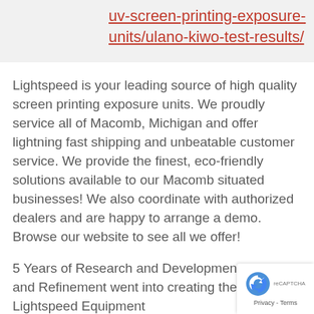uv-screen-printing-exposure-units/ulano-kiwo-test-results/
Lightspeed is your leading source of high quality screen printing exposure units. We proudly service all of Macomb, Michigan and offer lightning fast shipping and unbeatable customer service. We provide the finest, eco-friendly solutions available to our Macomb situated businesses! We also coordinate with authorized dealers and are happy to arrange a demo. Browse our website to see all we offer!
5 Years of Research and Development, Testing and Refinement went into creating the Lightspeed Equipment